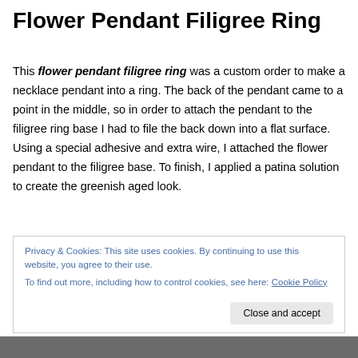Flower Pendant Filigree Ring
This flower pendant filigree ring was a custom order to make a necklace pendant into a ring. The back of the pendant came to a point in the middle, so in order to attach the pendant to the filigree ring base I had to file the back down into a flat surface. Using a special adhesive and extra wire, I attached the flower pendant to the filigree base. To finish, I applied a patina solution to create the greenish aged look.
Privacy & Cookies: This site uses cookies. By continuing to use this website, you agree to their use.
To find out more, including how to control cookies, see here: Cookie Policy
[Figure (photo): Partial photo of the flower pendant filigree ring at the bottom of the page]